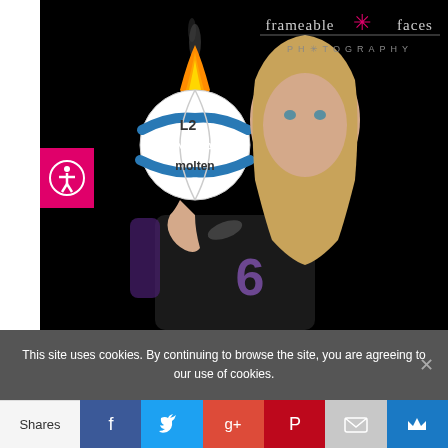[Figure (photo): A female volleyball player in a dark jersey (number 6) holds a flaming molten NCAA volleyball on a dark background. The Frameable Faces Photography logo appears in the upper right.]
This site uses cookies. By continuing to browse the site, you are agreeing to our use of cookies.
Shares